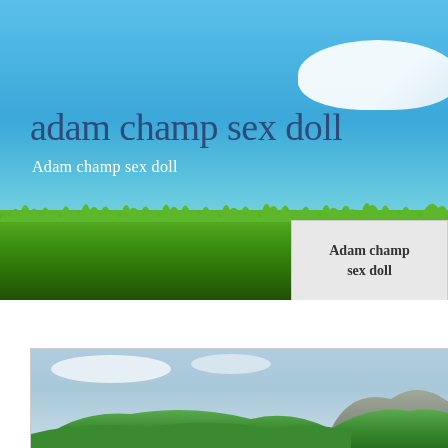[Figure (illustration): Website header banner with blue sky, white cloud in top right, green grass strip at bottom, dark blue title text 'adam champ sex doll' and white subtitle 'Adam champ sex doll']
adam champ sex doll
Adam champ sex doll
[Figure (illustration): Small thumbnail box with light gray background showing text 'Adam champ sex doll']
[Figure (photo): Landscape photo showing green rolling hills with rocky cliff face, blue sky with clouds, framed with light border]